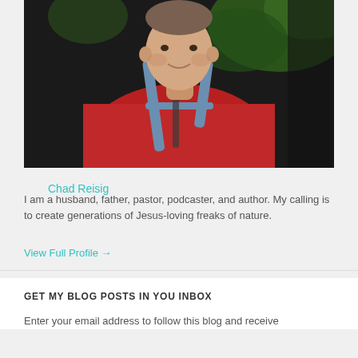[Figure (photo): A man wearing a red shirt and backpack straps, taking a selfie outdoors with greenery in the background]
Chad Reisig
I am a husband, father, pastor, podcaster, and author. My calling is to create generations of Jesus-loving freaks of nature.
View Full Profile →
GET MY BLOG POSTS IN YOU INBOX
Enter your email address to follow this blog and receive notifications of new posts by email.